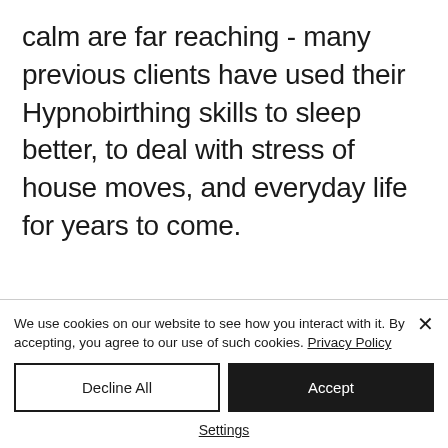calm are far reaching - many previous clients have used their Hypnobirthing skills to sleep better, to deal with stress of house moves, and everyday life for years to come.
Want to see how this has
We use cookies on our website to see how you interact with it. By accepting, you agree to our use of such cookies. Privacy Policy
Decline All
Accept
Settings